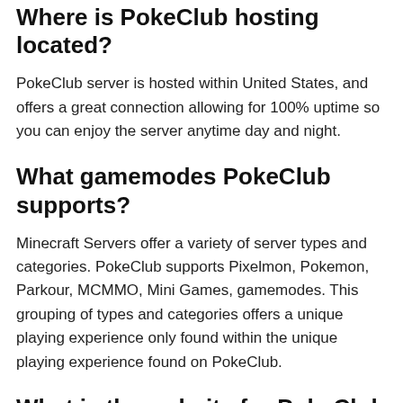Where is PokeClub hosting located?
PokeClub server is hosted within United States, and offers a great connection allowing for 100% uptime so you can enjoy the server anytime day and night.
What gamemodes PokeClub supports?
Minecraft Servers offer a variety of server types and categories. PokeClub supports Pixelmon, Pokemon, Parkour, MCMMO, Mini Games, gamemodes. This grouping of types and categories offers a unique playing experience only found within the unique playing experience found on PokeClub.
What is the website for PokeClub Minecraft Server?